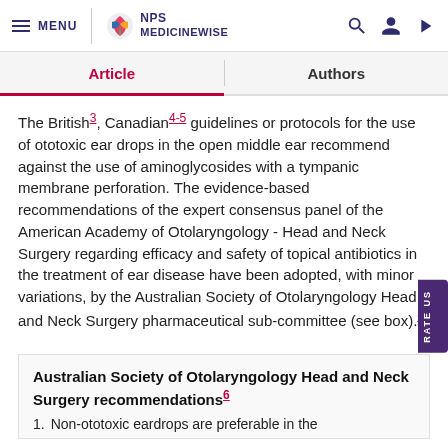MENU | NPS MEDICINEWISE
Article | Authors
The British³, Canadian⁴⁻⁵ guidelines or protocols for the use of ototoxic ear drops in the open middle ear recommend against the use of aminoglycosides with a tympanic membrane perforation. The evidence-based recommendations of the expert consensus panel of the American Academy of Otolaryngology - Head and Neck Surgery regarding efficacy and safety of topical antibiotics in the treatment of ear disease have been adopted, with minor variations, by the Australian Society of Otolaryngology Head and Neck Surgery pharmaceutical sub-committee (see box).⁶
Australian Society of Otolaryngology Head and Neck Surgery recommendations⁶
Non-ototoxic eardrops are preferable in the